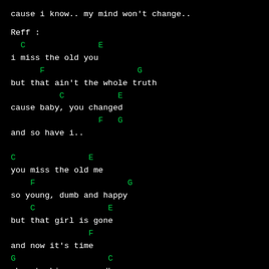cause i know.. my mind won't change..
Reff :
C               E
i miss the old you
F                   G
but that ain't the whole truth
C           E
cause baby, you changed
F   G
and so have i..
C               E
you miss the old me
F                   G
so young, dumb and happy
C               E
but that girl is gone
F
and now it's time
G                   C
oh.. to kiss me goodbye